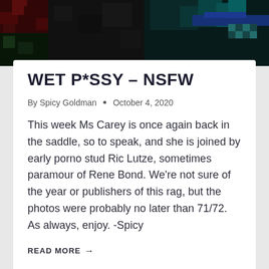[Figure (photo): Pixelated colorful header image with dark red, green, teal and blue sections, blurred/pixelated appearance]
WET P*SSY – NSFW
By Spicy Goldman • October 4, 2020
This week Ms Carey is once again back in the saddle, so to speak, and she is joined by early porno stud Ric Lutze, sometimes paramour of Rene Bond. We're not sure of the year or publishers of this rag, but the photos were probably no later than 71/72. As always, enjoy. -Spicy
READ MORE →